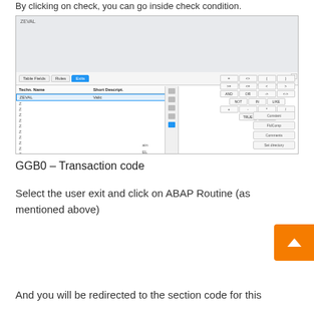By clicking on check, you can go inside check condition.
[Figure (screenshot): Screenshot of GGB0 SAP transaction showing ZEVAL user exit in Exits tab with operator buttons panel on the right side. A red arrow annotation says 'Click on this icon to check the code inside user exit.']
GGB0 – Transaction code
Select the user exit and click on ABAP Routine (as mentioned above)
And you will be redirected to the section code for this